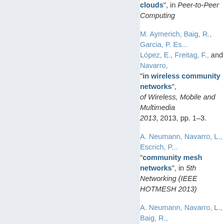clouds", in Peer-to-Peer Computing
M. Aymerich, Baig, R., Garcia, P. Es..., López, E., Freitag, F., and Navarro, ... "in wireless community networks", of Wireless, Mobile and Multimedia ... 2013, 2013, pp. 1–3.
A. Neumann, Navarro, L., Escrich, P... "community mesh networks", in 5th... Networking (IEEE HOTMESH 2013)...
A. Neumann, Navarro, L., Baig, R., ... "community mesh networks", in {IE... Wireless, Mobile and Multimedia Ne... 2013, 2013, pp. 1–7.
J. Jiménez, Baig, R., Escrich, P., Kh... Zennaro, M., Payberah, A. H., and A... "Guifi.net community network", in ... Symposium (GIIS 2013), Trento, Ital...
J. Jimenez, Baig, R., Garcia, P. Esc... Pietrosemoli, E., Zennaro, M., Payb...